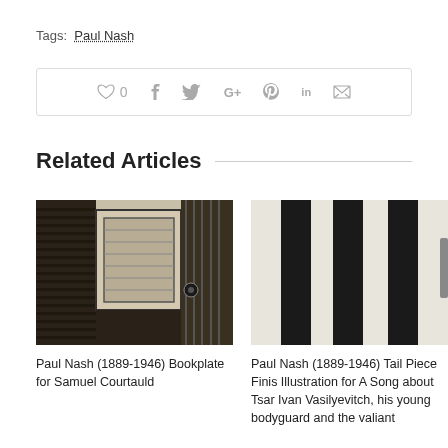Tags:  Paul Nash
[Figure (screenshot): Social sharing bar with heart/like icon showing 0, and icons for Facebook, Twitter, Google+, Pinterest, LinkedIn, and email]
Related Articles
[Figure (photo): Black and white woodcut-style illustration showing an interior scene with architectural elements, a mirror or frame, and detailed cross-hatching. Related to Paul Nash bookplate artwork.]
[Figure (photo): Black and white abstract image showing three bold vertical black stripes on a light background. Related to Paul Nash tail piece illustration.]
Paul Nash (1889-1946) Bookplate for Samuel Courtauld
Paul Nash (1889-1946) Tail Piece Finis Illustration for A Song about Tsar Ivan Vasilyevitch, his young bodyguard and the valiant